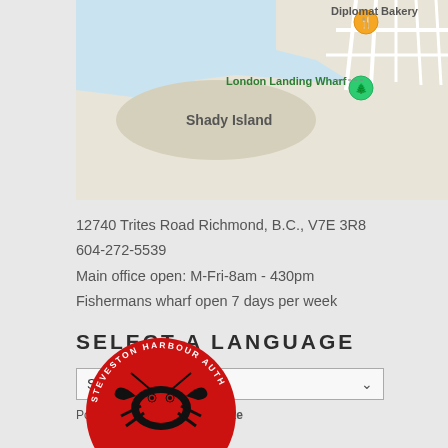[Figure (map): Google Maps screenshot showing Shady Island, London Landing Wharf, and Diplomat Bakery in Richmond, BC area. Water/blue areas visible with road network.]
12740 Trites Road Richmond, B.C., V7E 3R8
604-272-5539
Main office open: M-Fri-8am - 430pm
Fishermans wharf open 7 days per week
SELECT A LANGUAGE
Select Language
Powered by Google Translate
[Figure (logo): Steveston Harbour Authority circular red logo with crab/lobster graphic in black and red]